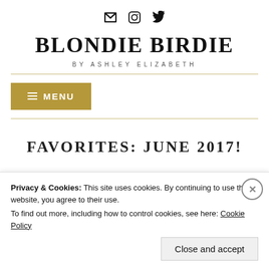[Figure (other): Social media icons: email envelope, Instagram, Twitter]
BLONDIE BIRDIE
BY ASHLEY ELIZABETH
≡ MENU
FAVORITES: JUNE 2017!
Privacy & Cookies: This site uses cookies. By continuing to use this website, you agree to their use.
To find out more, including how to control cookies, see here: Cookie Policy
Close and accept